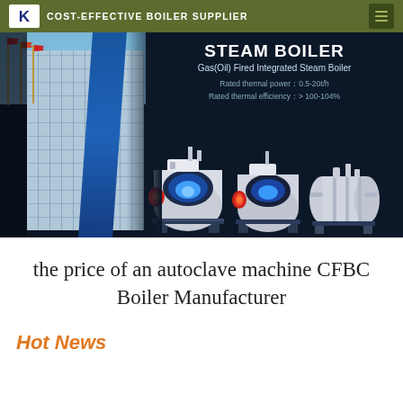COST-EFFECTIVE BOILER SUPPLIER
[Figure (photo): Steam boiler product banner showing gas/oil fired integrated steam boilers on dark background with building photo on left. Text overlay: STEAM BOILER, Gas(Oil) Fired Integrated Steam Boiler, Rated thermal power: 0.5-20t/h, Rated thermal efficiency: > 100-104%]
the price of an autoclave machine CFBC Boiler Manufacturer
Hot News